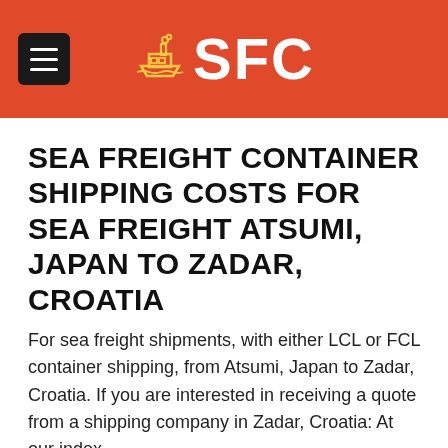SFC
SEA FREIGHT CONTAINER SHIPPING COSTS FOR SEA FREIGHT ATSUMI, JAPAN TO ZADAR, CROATIA
For sea freight shipments, with either LCL or FCL container shipping, from Atsumi, Japan to Zadar, Croatia. If you are interested in receiving a quote from a shipping company in Zadar, Croatia: At our index